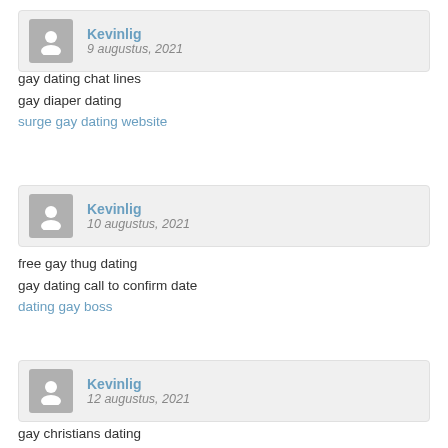Kevinlig
9 augustus, 2021
gay dating chat lines
gay diaper dating
surge gay dating website
Kevinlig
10 augustus, 2021
free gay thug dating
gay dating call to confirm date
dating gay boss
Kevinlig
12 augustus, 2021
gay christians dating